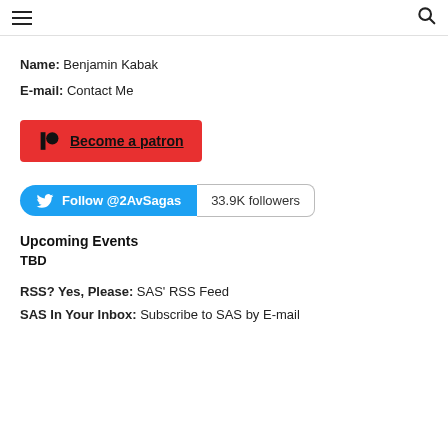Navigation header with hamburger menu and search icon
Name: Benjamin Kabak
E-mail: Contact Me
[Figure (other): Patreon button: red button with Patreon icon and text 'Become a patron']
[Figure (other): Twitter follow button: blue rounded button 'Follow @2AvSagas' with '33.9K followers' count badge]
Upcoming Events
TBD
RSS? Yes, Please: SAS' RSS Feed
SAS In Your Inbox: Subscribe to SAS by E-mail